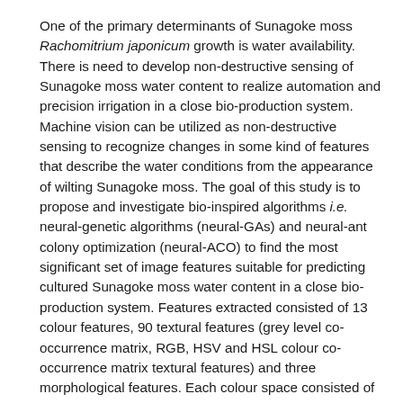One of the primary determinants of Sunagoke moss Rachomitrium japonicum growth is water availability. There is need to develop non-destructive sensing of Sunagoke moss water content to realize automation and precision irrigation in a close bio-production system. Machine vision can be utilized as non-destructive sensing to recognize changes in some kind of features that describe the water conditions from the appearance of wilting Sunagoke moss. The goal of this study is to propose and investigate bio-inspired algorithms i.e. neural-genetic algorithms (neural-GAs) and neural-ant colony optimization (neural-ACO) to find the most significant set of image features suitable for predicting cultured Sunagoke moss water content in a close bio-production system. Features extracted consisted of 13 colour features, 90 textural features (grey level co-occurrence matrix, RGB, HSV and HSL colour co-occurrence matrix textural features) and three morphological features. Each colour space consisted of ten textural features algorithms: entropy, energy, contrast, homogeneity, sum mean, variance, correlation, maximum probability, inverse difference moment and cluster tendency. The specificity of this problem was that we were not looking for single image feature but several associations of image features that may be involved in determining water content of